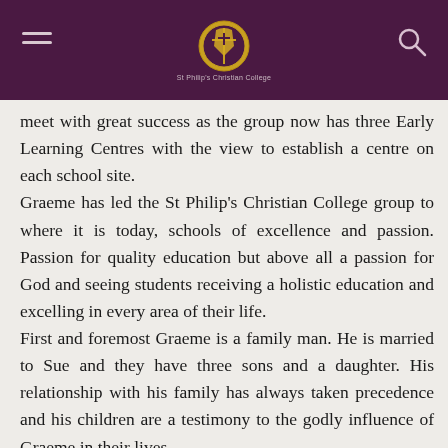St Philip's Christian College header with logo
meet with great success as the group now has three Early Learning Centres with the view to establish a centre on each school site. Graeme has led the St Philip's Christian College group to where it is today, schools of excellence and passion. Passion for quality education but above all a passion for God and seeing students receiving a holistic education and excelling in every area of their life. First and foremost Graeme is a family man. He is married to Sue and they have three sons and a daughter. His relationship with his family has always taken precedence and his children are a testimony to the godly influence of Graeme in their lives.